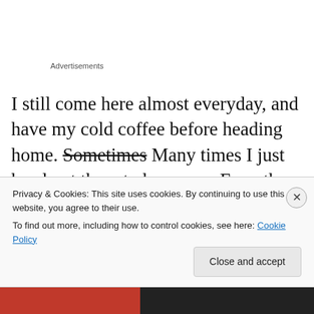Advertisements
I still come here almost everyday, and have my cold coffee before heading home. Sometimes Many times I just head out there to have one. Even the owner of the place knows me very well, well that was in a way a no brainer. And dam I mentioned this place before in a previous challenge post and still don't have any picture of this place. Time to rectify
Privacy & Cookies: This site uses cookies. By continuing to use this website, you agree to their use.
To find out more, including how to control cookies, see here: Cookie Policy
Close and accept